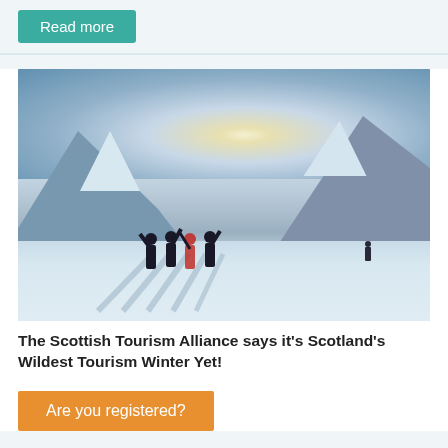Read more
[Figure (photo): Group of people in winter mountaineering gear standing on a snowy mountain slope, arms raised, with snowy peaks and bright sky in background, casting long shadows on the snow]
The Scottish Tourism Alliance says it's Scotland's Wildest Tourism Winter Yet!
Are you registered?